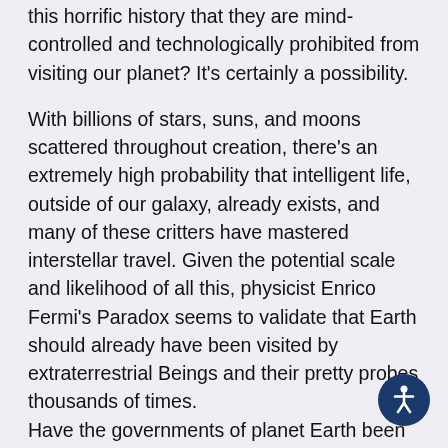this horrific history that they are mind-controlled and technologically prohibited from visiting our planet? It's certainly a possibility.

With billions of stars, suns, and moons scattered throughout creation, there's an extremely high probability that intelligent life, outside of our galaxy, already exists, and many of these critters have mastered interstellar travel. Given the potential scale and likelihood of all this, physicist Enrico Fermi's Paradox seems to validate that Earth should already have been visited by extraterrestrial Beings and their pretty probes thousands of times.
Have the governments of planet Earth been so diligent and thorough that they have been able to conceal the many alien visitations to date? Have the key alien abductees and first-greeters been so compensated and threatened that their stories are